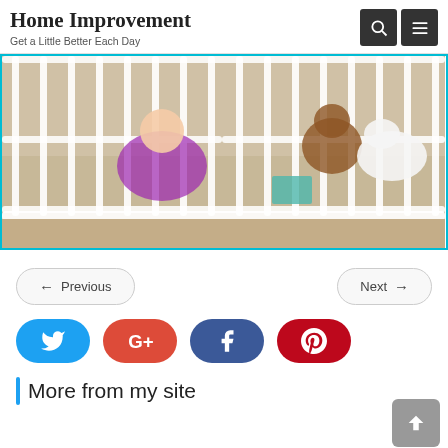Home Improvement
Get a Little Better Each Day
[Figure (photo): Baby and dog inside a white metal play yard/gate on beige carpet, with toys scattered around]
← Previous   Next →
[Figure (infographic): Social sharing buttons row: Twitter (blue), Google+ (red), Facebook (dark blue), Pinterest (dark red)]
More from my site